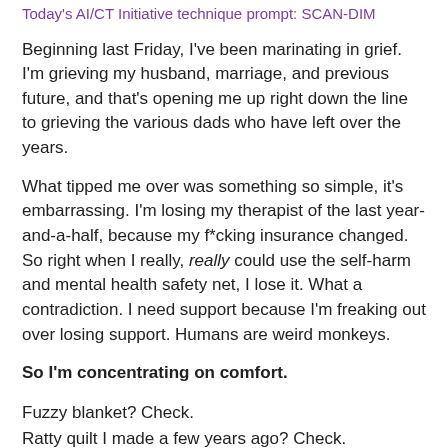Today's AI/CT Initiative technique prompt: SCAN-DIM
Beginning last Friday, I've been marinating in grief. I'm grieving my husband, marriage, and previous future, and that's opening me up right down the line to grieving the various dads who have left over the years.
What tipped me over was something so simple, it's embarrassing. I'm losing my therapist of the last year-and-a-half, because my f*cking insurance changed. So right when I really, really could use the self-harm and mental health safety net, I lose it. What a contradiction. I need support because I'm freaking out over losing support. Humans are weird monkeys.
So I'm concentrating on comfort.
Fuzzy blanket? Check.
Ratty quilt I made a few years ago? Check.
Lavendar and lemongrass candle? Check.